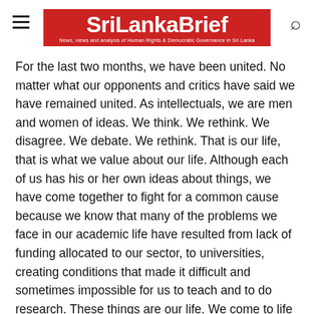SriLankaBrief — News, views and analysis of Human Rights & Democratic Governance in Sri Lanka
For the last two months, we have been united. No matter what our opponents and critics have said we have remained united. As intellectuals, we are men and women of ideas. We think. We rethink. We disagree. We debate. We rethink. That is our life, that is what we value about our life. Although each of us has his or her own ideas about things, we have come together to fight for a common cause because we know that many of the problems we face in our academic life have resulted from lack of funding allocated to our sector, to universities, creating conditions that made it difficult and sometimes impossible for us to teach and to do research. These things are our life. We come to life when we are busy at these things.
We come to life in the presence of our students in classes, in lecture rooms and in labs. We come to life when we encounter great thoughts in the library. We get goose bumps when we see a new truth related to our subjects, to our